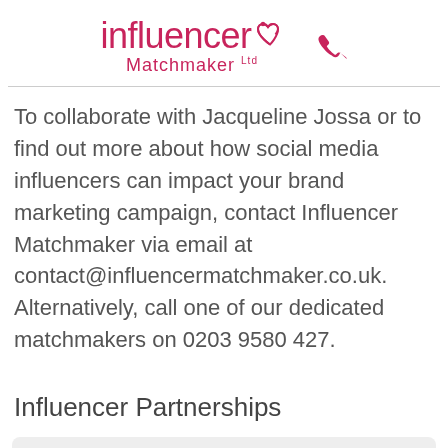[Figure (logo): Influencer Matchmaker Ltd logo with pink text and heart icon, plus a pink phone icon to the right]
To collaborate with Jacqueline Jossa or to find out more about how social media influencers can impact your brand marketing campaign, contact Influencer Matchmaker via email at contact@influencermatchmaker.co.uk. Alternatively, call one of our dedicated matchmakers on 0203 9580 427.
Influencer Partnerships